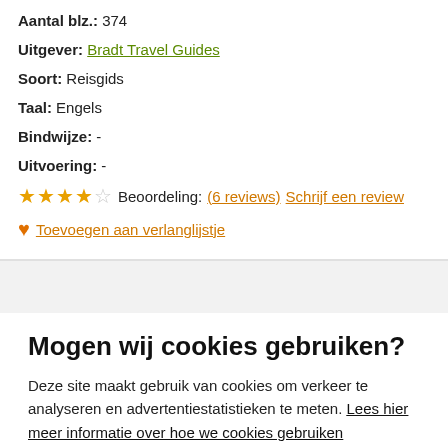Aantal blz.: 374
Uitgever: Bradt Travel Guides
Soort: Reisgids
Taal: Engels
Bindwijze: -
Uitvoering: -
★★★★☆ Beoordeling: (6 reviews) Schrijf een review
❤ Toevoegen aan verlanglijstje
Mogen wij cookies gebruiken?
Deze site maakt gebruik van cookies om verkeer te analyseren en advertentiestatistieken te meten. Lees hier meer informatie over hoe we cookies gebruiken